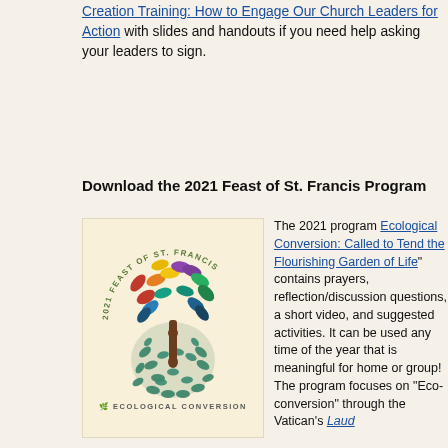Creation Training: How to Engage Our Church Leaders for Action with slides and handouts if you need help asking your leaders to sign.
Download the 2021 Feast of St. Francis Program
[Figure (illustration): 2021 Feast of St. Francis logo: a colorful tree with multi-colored leaves (red, orange, yellow, green, blue, purple) growing from a brown trunk, rooted in a globe made of blue-green leaves. Text arcs around the top: '2021 FEAST OF ST. FRANCIS'. Below is text 'ECOLOGICAL CONVERSION'.]
The 2021 program "Ecological Conversion: Called to Tend the Flourishing Garden of Life" contains prayers, reflection/discussion questions, a short video, and suggested activities. It can be used any time of the year that is meaningful for home or group! The 2021 program focuses on "Eco-conversion" through the Vatican's Laudato Si'...